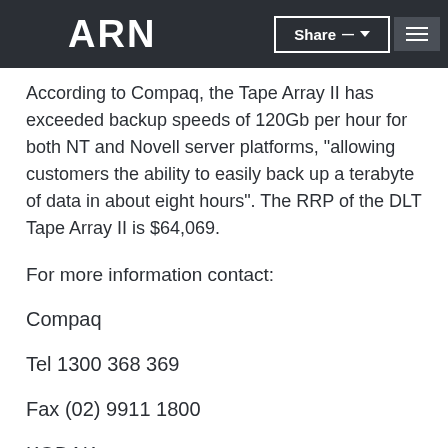ARN | Share
According to Compaq, the Tape Array II has exceeded backup speeds of 120Gb per hour for both NT and Novell server platforms, "allowing customers the ability to easily back up a terabyte of data in about eight hours". The RRP of the DLT Tape Array II is $64,069.
For more information contact:
Compaq
Tel 1300 368 369
Fax (02) 9911 1800
KODAK